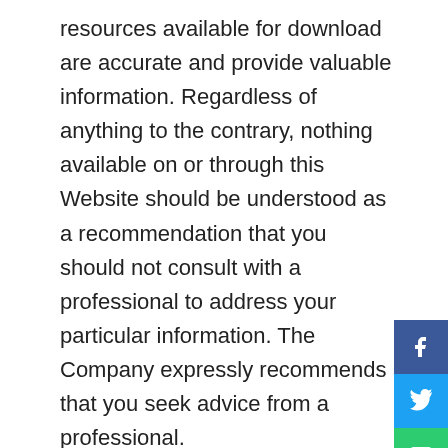resources available for download are accurate and provide valuable information. Regardless of anything to the contrary, nothing available on or through this Website should be understood as a recommendation that you should not consult with a professional to address your particular information. The Company expressly recommends that you seek advice from a professional.
Neither the Company nor any of its employees or owners shall be held liable or responsible for any errors or omissions on this website or for any damage you may suffer as a result of failing to seek competent advice from a professional who